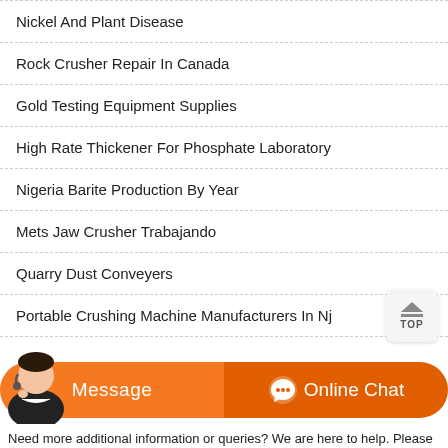Nickel And Plant Disease
Rock Crusher Repair In Canada
Gold Testing Equipment Supplies
High Rate Thickener For Phosphate Laboratory
Nigeria Barite Production By Year
Mets Jaw Crusher Trabajando
Quarry Dust Conveyers
Portable Crushing Machine Manufacturers In Nj
[Figure (other): Customer service agent chat widget with Message and Online Chat buttons in orange]
Need more additional information or queries? We are here to help. Please